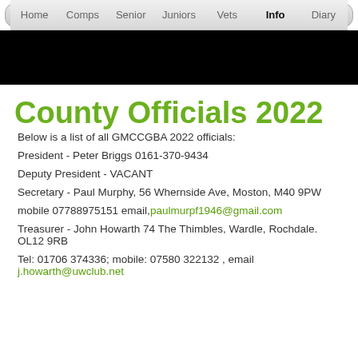Home | Comps | Senior | Juniors | Vets | Info | Diary
[Figure (photo): Black banner image at top of page]
County Officials 2022
Below is a list of all GMCCGBA 2022 officials:
President - Peter Briggs 0161-370-9434
Deputy President - VACANT
Secretary - Paul Murphy, 56 Whernside Ave, Moston, M40 9PW
mobile 07788975151 email, paulmurpf1946@gmail.com
Treasurer - John Howarth 74 The Thimbles, Wardle, Rochdale. OL12 9RB
Tel: 01706 374336; mobile: 07580 322132 , email j.howarth@uwclub.net